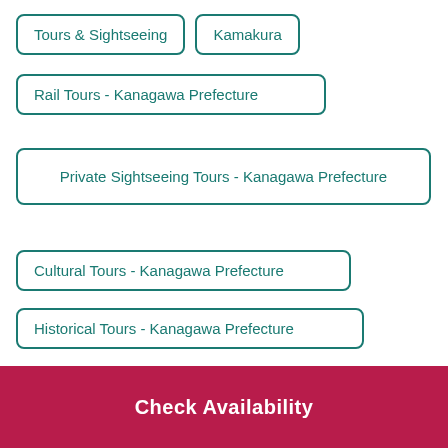Tours & Sightseeing
Kamakura
Rail Tours - Kanagawa Prefecture
Private Sightseeing Tours - Kanagawa Prefecture
Cultural Tours - Kanagawa Prefecture
Historical Tours - Kanagawa Prefecture
Full-day Tours - Kanagawa Prefecture
Rail Tours - Kawasaki
Check Availability